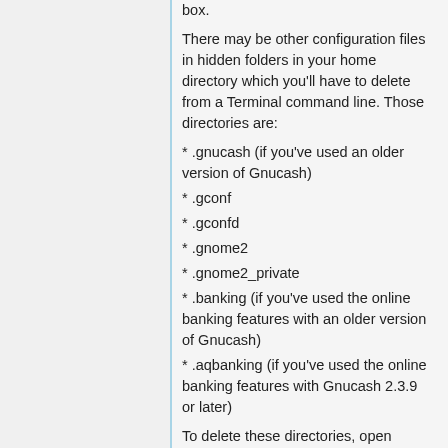box.
There may be other configuration files in hidden folders in your home directory which you'll have to delete from a Terminal command line. Those directories are:
* .gnucash (if you've used an older version of Gnucash)
* .gconf
* .gconfd
* .gnome2
* .gnome2_private
* .banking (if you've used the online banking features with an older version of Gnucash)
* .aqbanking (if you've used the online banking features with Gnucash 2.3.9 or later)
To delete these directories, open Applications/Utilities/Terminal and t